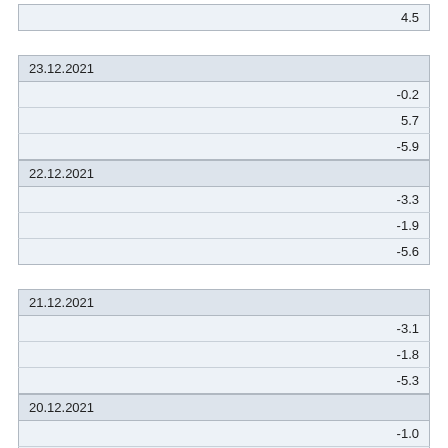| 4.5 |
| 23.12.2021 |  |
|  | -0.2 |
|  | 5.7 |
|  | -5.9 |
| 22.12.2021 |  |
|  | -3.3 |
|  | -1.9 |
|  | -5.6 |
| 21.12.2021 |  |
|  | -3.1 |
|  | -1.8 |
|  | -5.3 |
| 20.12.2021 |  |
|  | -1.0 |
|  | 2.1 |
|  | -2.7 |